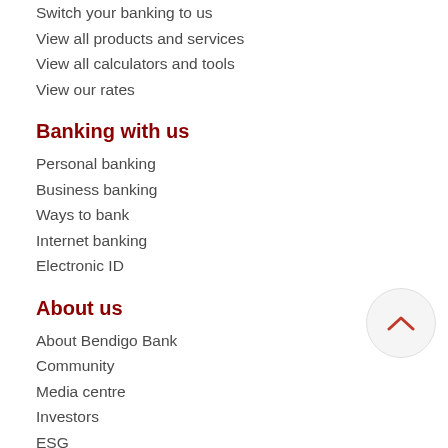Switch your banking to us
View all products and services
View all calculators and tools
View our rates
Banking with us
Personal banking
Business banking
Ways to bank
Internet banking
Electronic ID
About us
About Bendigo Bank
Community
Media centre
Investors
ESG
Accessibility and inclusion